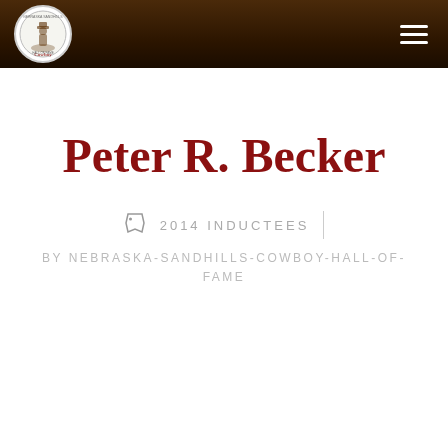[Figure (logo): Nebraska Sandhills Cowboy Hall of Fame circular logo with cowboy silhouette, red script text]
Peter R. Becker
2014 INDUCTEES
BY NEBRASKA-SANDHILLS-COWBOY-HALL-OF-FAME